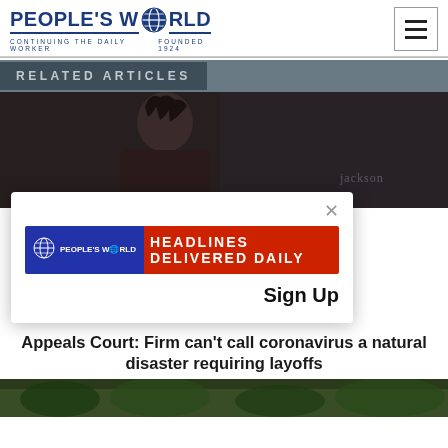PEOPLE'S WORLD — CONTINUING THE DAILY WORKER — FOUNDED 1924
RELATED ARTICLES
[Figure (photo): A person with dreadlocks photographed in a dimly lit setting; a name label showing 'Jackson' is visible in the lower right area]
[Figure (infographic): People's World Headlines Delivered Daily signup banner popup with close button and Sign Up text]
Appeals Court: Firm can't call coronavirus a natural disaster requiring layoffs
[Figure (photo): Bottom strip showing outdoor scene with greenery]